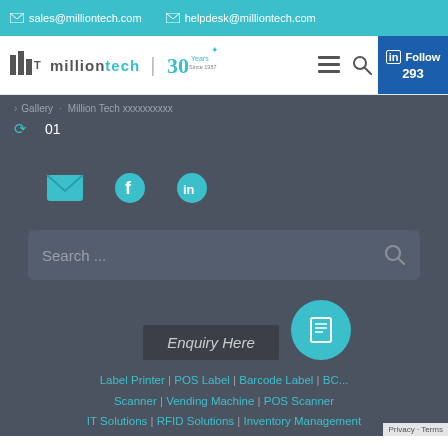sales@milliontech.com   helpdesk@milliontech.com
[Figure (logo): Million Tech logo with bars and 30 Years since 1987 badge]
> 01
[Figure (infographic): Social share icons: email envelope, Facebook f, LinkedIn in]
Search ...
Enquiry Here
Label Printer | POS Label | Barcode Label | BC... Scanner | Vending Machine | POS Scanner IT Solutions | RFID Solutions | Inventory Management